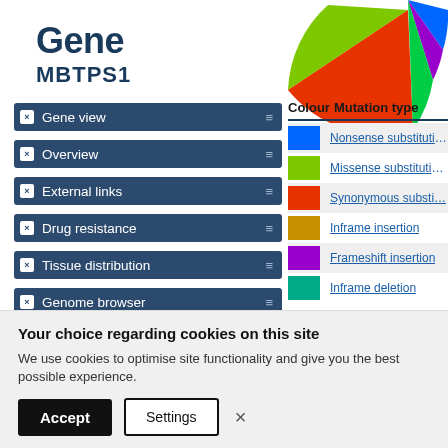Gene
MBTPS1
[Figure (pie-chart): Partial pie chart showing mutation type distribution with green, red/orange, and small coloured slices visible in top-right corner]
Gene view
Overview
External links
Drug resistance
Tissue distribution
Genome browser
Mutation distribution
| Colour | Mutation type |
| --- | --- |
| [blue] | Nonsense substitution |
| [lime] | Missense substitution |
| [red] | Synonymous substitution |
| [goldenrod] | Inframe insertion |
| [purple] | Frameshift insertion |
| [teal] | Inframe deletion |
Your choice regarding cookies on this site
We use cookies to optimise site functionality and give you the best possible experience.
Accept | Settings | ×